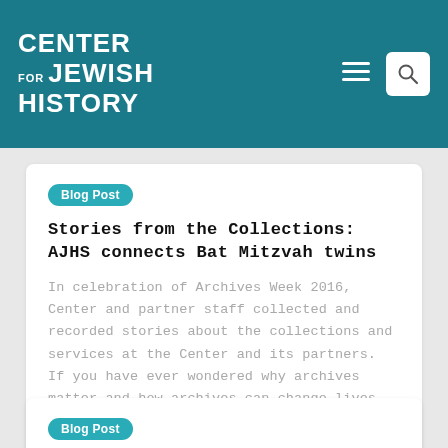CENTER FOR JEWISH HISTORY
Blog Post
Stories from the Collections: AJHS connects Bat Mitzvah twins
In celebration of Archives Week 2016, Center and partner staff collected and recorded stories about the collections and services at the Center and its partners. If you have ever wondered why archives matter and how archives can change lives, just have a listen. In this recording, archivists Boni Joi Koelliker of the American Jewish Historical Society and Leanora Lange of the Center for Jewish…
0  1023  0
Blog Post